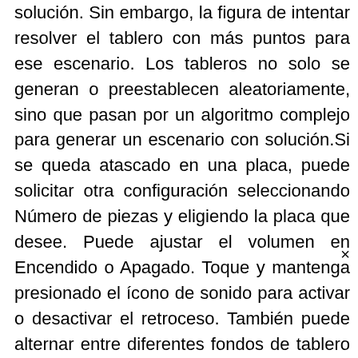solución. Sin embargo, la figura de intentar resolver el tablero con más puntos para ese escenario. Los tableros no solo se generan o preestablecen aleatoriamente, sino que pasan por un algoritmo complejo para generar un escenario con solución.Si se queda atascado en una placa, puede solicitar otra configuración seleccionando Número de piezas y eligiendo la placa que desee. Puede ajustar el volumen en Encendido o Apagado. Toque y mantenga presionado el ícono de sonido para activar o desactivar el retroceso. También puede alternar entre diferentes fondos de tablero de ajedrez manteniendo presionado el botón Ayuda.Un enfoque para estos acertijos del juego mental de Ajedrez es resolver inicialmente el tablero de cualquier forma q